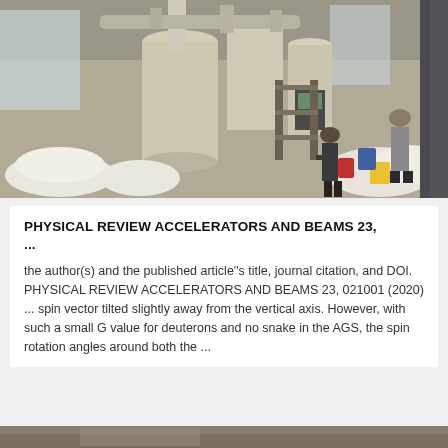[Figure (photo): Interior of an industrial facility or warehouse showing large cream-colored cylindrical processing equipment, pipes, and ducts hanging from the ceiling. Two workers are visible on the floor surrounded by white bags of material. Steel structure and windows visible in background.]
PHYSICAL REVIEW ACCELERATORS AND BEAMS 23, ...
the author(s) and the published article''s title, journal citation, and DOI. PHYSICAL REVIEW ACCELERATORS AND BEAMS 23, 021001 (2020) ... spin vector tilted slightly away from the vertical axis. However, with such a small G value for deuterons and no snake in the AGS, the spin rotation angles around both the ...
[Figure (photo): Partial view of another photo visible at the bottom of the page.]